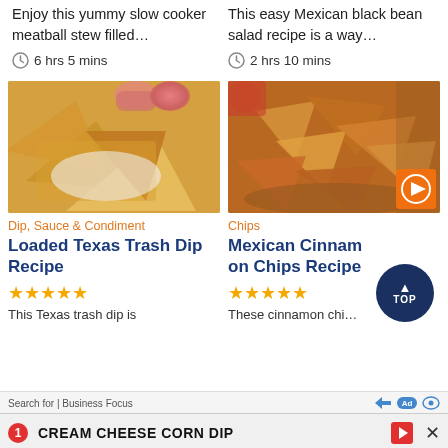Enjoy this yummy slow cooker meatball stew filled…
6 hrs 5 mins
This easy Mexican black bean salad recipe is a way…
2 hrs 10 mins
[Figure (photo): Close-up of tortilla chips being dipped into a cheese dip]
Dip, Sauce & Condiment
Loaded Texas Trash Dip Recipe
★★★★★
This Texas trash dip is
[Figure (photo): Mexican cinnamon chips in a basket with a play button overlay]
Chips
Mexican Cinnamon Chips Recipe
★★★★★
These cinnamon chi…
Search for | Business Focus   [Ad icons]   × CREAM CHEESE CORN DIP